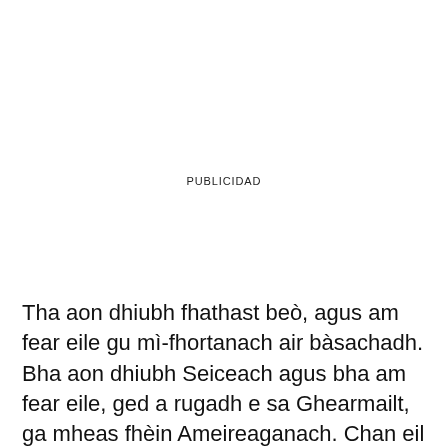PUBLICIDAD
Tha aon dhiubh fhathast beò, agus am fear eile gu mì-fhortanach air bàsachadh. Bha aon dhiubh Seiceach agus bha am fear eile, ged a rugadh e sa Ghearmailt, ga mheas fhèin Ameireaganach. Chan eil dad aig litreachas aon ri sgrìobhaidhean an fhir